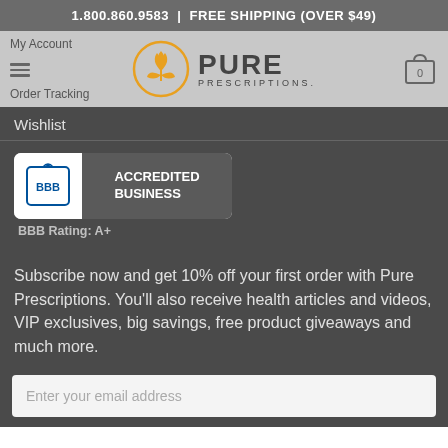1.800.860.9583 | FREE SHIPPING (OVER $49)
[Figure (logo): Pure Prescriptions logo with orange leaf/flower circle icon and text PURE PRESCRIPTIONS]
My Account
Order Tracking
Wishlist
[Figure (logo): BBB Accredited Business badge with BBB logo on left and ACCREDITED BUSINESS text on dark right side]
BBB Rating: A+
Subscribe now and get 10% off your first order with Pure Prescriptions. You'll also receive health articles and videos, VIP exclusives, big savings, free product giveaways and much more.
Enter your email address